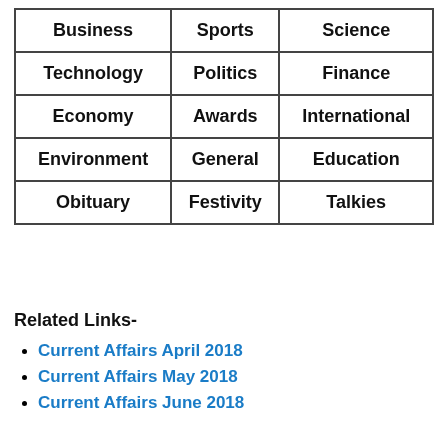| Business | Sports | Science |
| Technology | Politics | Finance |
| Economy | Awards | International |
| Environment | General | Education |
| Obituary | Festivity | Talkies |
Related Links-
Current Affairs April 2018
Current Affairs May 2018
Current Affairs June 2018